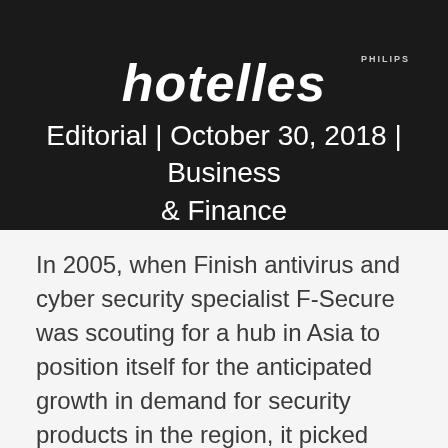[Figure (photo): Dark header image with partial italic title text visible at top (ending in 'hotelles'), a Philips logo watermark on the right, and editorial metadata text overlaid: 'Editorial | October 30, 2018 | Business & Finance']
Editorial | October 30, 2018 | Business & Finance
In 2005, when Finish antivirus and cyber security specialist F-Secure was scouting for a hub in Asia to position itself for the anticipated growth in demand for security products in the region, it picked Malaysia. In 2014, the company believed that Malaysia remains one of the most conducive